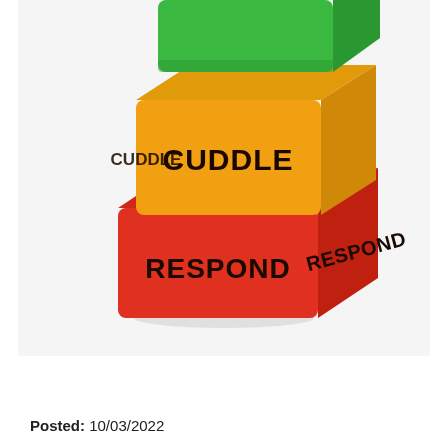[Figure (photo): Stacked colorful foam/wooden cubes. Top cube is green (partially visible), middle cube is orange with 'CUDDLE' written on two visible faces, bottom cube is red with 'RESPOND' written on two visible faces. White background.]
Posted:  10/03/2022